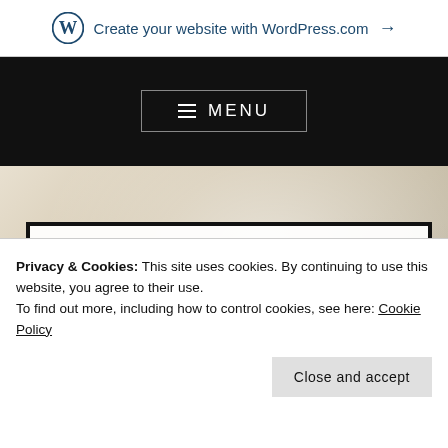Create your website with WordPress.com →
[Figure (screenshot): Black navigation bar with MENU button in a rectangular border]
[Figure (photo): Blurred cream/beige background hero image suggesting fabric or paper texture]
CHARLIE BROWNE THE AUTHOR
Privacy & Cookies: This site uses cookies. By continuing to use this website, you agree to their use.
To find out more, including how to control cookies, see here: Cookie Policy
Close and accept